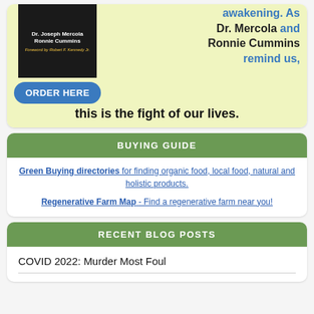[Figure (illustration): Book advertisement with yellow-green background showing a book cover with authors Dr. Joseph Mercola and Ronnie Cummins, foreword by Robert F. Kennedy Jr., an ORDER HERE button, and text reading 'awakening. As Dr. Mercola and Ronnie Cummins remind us, this is the fight of our lives.']
BUYING GUIDE
Green Buying directories for finding organic food, local food, natural and holistic products.
Regenerative Farm Map - Find a regenerative farm near you!
RECENT BLOG POSTS
COVID 2022: Murder Most Foul